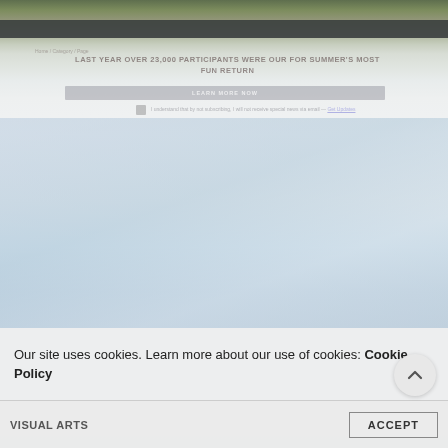[Figure (screenshot): Blurred/faded website screenshot showing a landscape background with navigation bars and partially visible text content overlaid with a cookie consent banner]
Our site uses cookies. Learn more about our use of cookies: Cookie Policy
VISUAL ARTS
ACCEPT